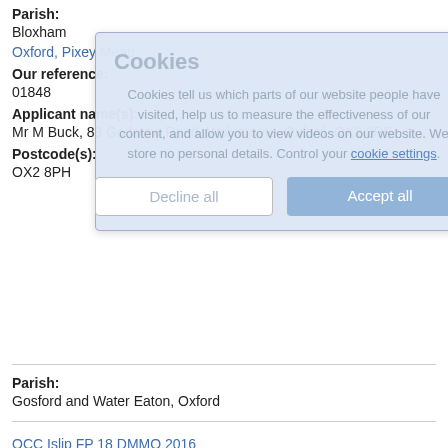Parish:
Bloxham
Oxford, Pixey Mead
Our reference:
01848
Applicant name(s):
Mr M Buck, 89 Godstow Road, Wolvercote, Oxford, OX2 8PF
Postcode(s):
OX2 8PH
Parish:
Gosford and Water Eaton, Oxford
OCC Islip FP 18 DMMO 2016
Our reference:
01967